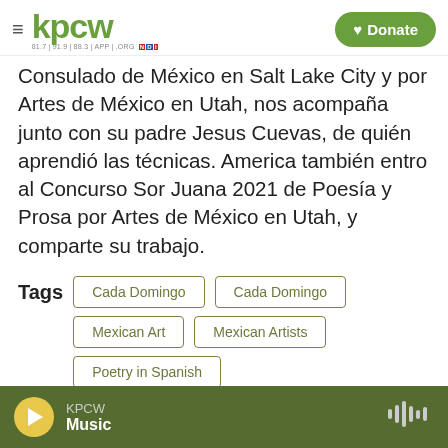KPCW | Donate
Consulado de México en Salt Lake City y por Artes de México en Utah, nos acompaña junto con su padre Jesus Cuevas, de quién aprendió las técnicas. America también entro al Concurso Sor Juana 2021 de Poesía y Prosa por Artes de México en Utah, y comparte su trabajo.
Tags
Cada Domingo
Cada Domingo
Mexican Art
Mexican Artists
Poetry in Spanish
KPCW Music